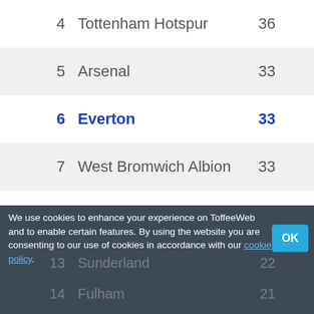| Pos | Team | Pts |
| --- | --- | --- |
| 4 | Tottenham Hotspur | 36 |
| 5 | Arsenal | 33 |
| 6 | Everton | 33 |
| 7 | West Bromwich Albion | 33 |
| 8 | Stoke City | 29 |
| 9 | Liverpool | 28 |
| 10 | Swansea City | 28 |
| 11 | Norwich City | 25 |
| 12 | West Ham United | 23 |
| 13 | Sunderland | 22 |
| 14 | Fulham | 21 |
We use cookies to enhance your experience on ToffeeWeb and to enable certain features. By using the website you are consenting to our use of cookies in accordance with our cookie policy.